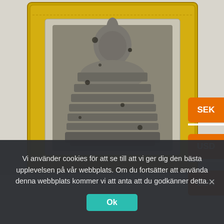[Figure (photo): Photo of a Thai Buddhist amulet (Phra Somdej) in a decorative gold frame, showing a seated Buddha figure in clay, with ornate golden border.]
SEK
USD
EUR
Vi använder cookies för att se till att vi ger dig den bästa upplevelsen på vår webbplats. Om du fortsätter att använda denna webbplats kommer vi att anta att du godkänner detta.
Ok